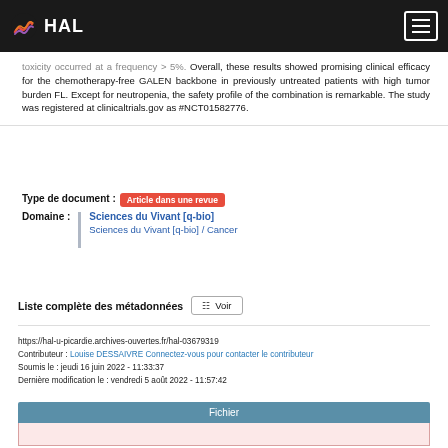HAL
toxicity occurred at a frequency > 5%. Overall, these results showed promising clinical efficacy for the chemotherapy-free GALEN backbone in previously untreated patients with high tumor burden FL. Except for neutropenia, the safety profile of the combination is remarkable. The study was registered at clinicaltrials.gov as #NCT01582776.
Type de document : Article dans une revue
Domaine : Sciences du Vivant [q-bio] / Sciences du Vivant [q-bio] / Cancer
Liste complète des métadonnées  Voir
https://hal-u-picardie.archives-ouvertes.fr/hal-03679319
Contributeur : Louise DESSAIVRE Connectez-vous pour contacter le contributeur
Soumis le : jeudi 16 juin 2022 - 11:33:37
Dernière modification le : vendredi 5 août 2022 - 11:57:42
Fichier